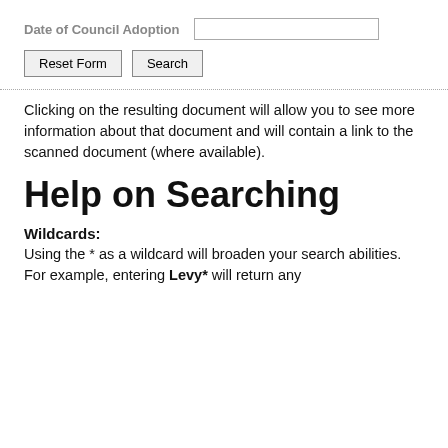Date of Council Adoption [input field]
Reset Form | Search
Clicking on the resulting document will allow you to see more information about that document and will contain a link to the scanned document (where available).
Help on Searching
Wildcards:
Using the * as a wildcard will broaden your search abilities.  For example, entering Levy* will return any